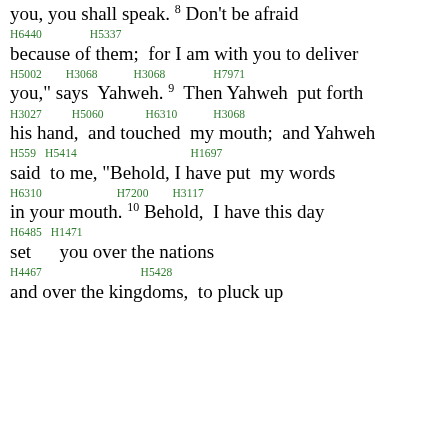you, you shall speak. 8 Don't be afraid
H6440   H5337
because of them;  for I am with you to deliver
H5002  H3068  H3068  H7971
you," says  Yahweh.  9  Then Yahweh  put forth
H3027  H5060  H6310  H3068
his hand,  and touched  my mouth;  and Yahweh
H559  H5414  H1697
said  to me, "Behold, I have put  my words
H6310  H7200  H3117
in your mouth.  10  Behold,  I have this day
H6485  H1471
set      you over the nations
H4467  H5428
and over the kingdoms,  to pluck up